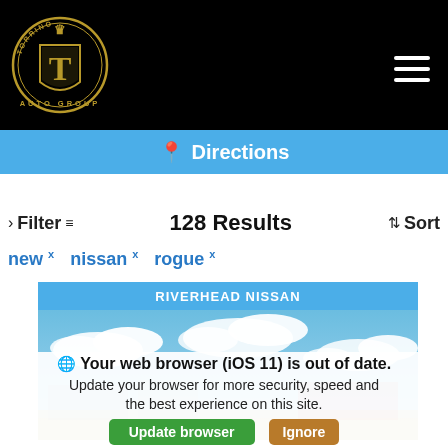[Figure (logo): Torrino Auto Group circular gold emblem logo with crown and T shield on black background]
Directions
> Filter  128 Results  Sort
new x  nissan x  rogue x
RIVERHEAD NISSAN
[Figure (photo): Blue sky with white clouds above a car dealership]
Your web browser (iOS 11) is out of date. Update your browser for more security, speed and the best experience on this site.